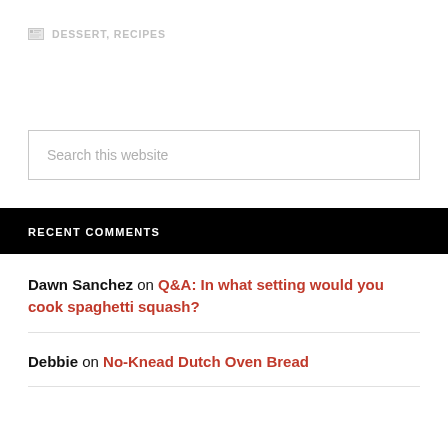DESSERT, RECIPES
Search this website
RECENT COMMENTS
Dawn Sanchez on Q&A: In what setting would you cook spaghetti squash?
Debbie on No-Knead Dutch Oven Bread